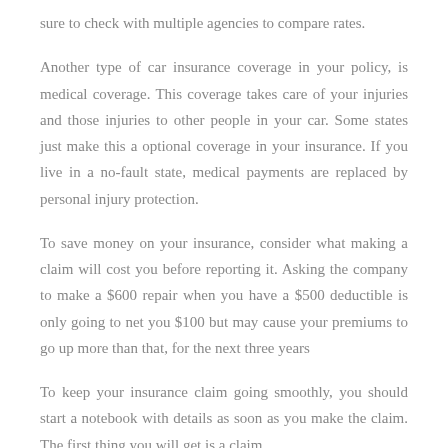sure to check with multiple agencies to compare rates.
Another type of car insurance coverage in your policy, is medical coverage. This coverage takes care of your injuries and those injuries to other people in your car. Some states just make this a optional coverage in your insurance. If you live in a no-fault state, medical payments are replaced by personal injury protection.
To save money on your insurance, consider what making a claim will cost you before reporting it. Asking the company to make a $600 repair when you have a $500 deductible is only going to net you $100 but may cause your premiums to go up more than that, for the next three years
To keep your insurance claim going smoothly, you should start a notebook with details as soon as you make the claim. The first thing you will get is a claim